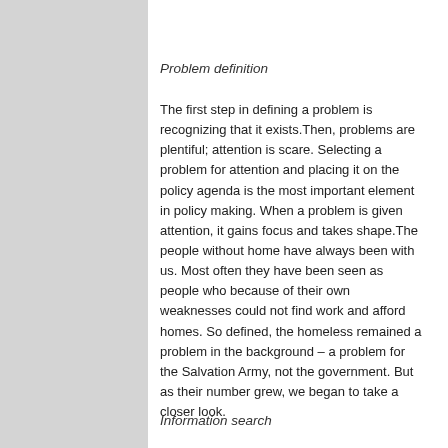Problem definition
The first step in defining a problem is recognizing that it exists.Then, problems are plentiful; attention is scare. Selecting a problem for attention and placing it on the policy agenda is the most important element in policy making. When a problem is given attention, it gains focus and takes shape.The people without home have always been with us. Most often they have been seen as people who because of their own weaknesses could not find work and afford homes. So defined, the homeless remained a problem in the background – a problem for the Salvation Army, not the government. But as their number grew, we began to take a closer look.
Information search